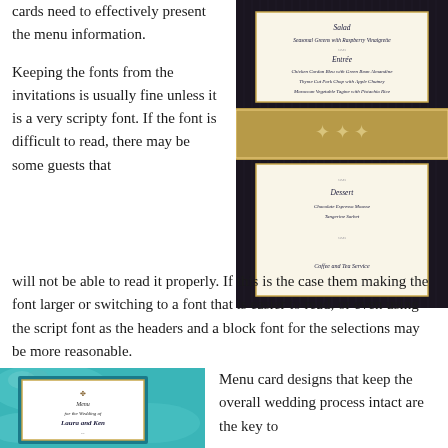cards need to effectively present the menu information.
Keeping the fonts from the invitations is usually fine unless it is a very scripty font. If the font is difficult to read, there may be some guests that will not be able to read it properly. If this is the case them making the font larger or switching to a font that is easier to read, or even using the script font as the headers and a block font for the selections may be more reasonable.
[Figure (photo): Elegant dark-framed wedding menu card with gold ornamental band and script text listing Salad, Entrée, and Dessert courses on cream background]
[Figure (photo): Teal-framed wedding menu card on teal satin fabric reading 'Menu for the Wedding of Laura and Ken']
Menu card designs that keep the overall wedding process intact are the key to